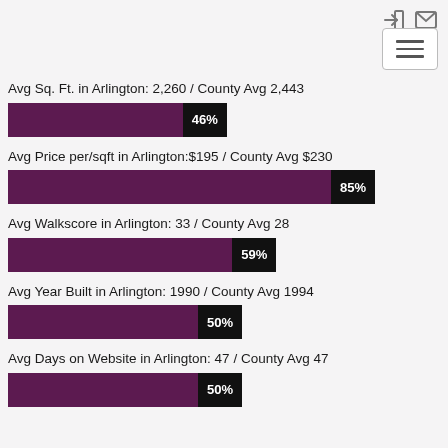[Figure (bar-chart): Arlington vs County Averages]
Avg Sq. Ft. in Arlington: 2,260 / County Avg 2,443
Avg Price per/sqft in Arlington:$195 / County Avg $230
Avg Walkscore in Arlington: 33 / County Avg 28
Avg Year Built in Arlington: 1990 / County Avg 1994
Avg Days on Website in Arlington: 47 / County Avg 47